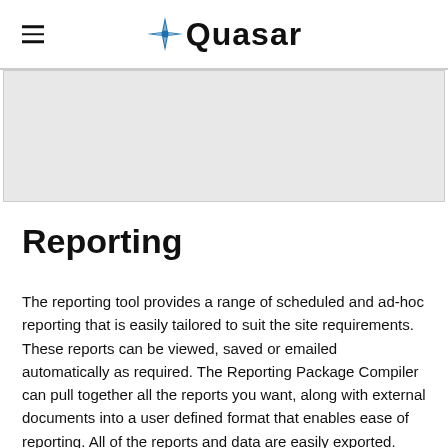Quasar
[Figure (other): Gray placeholder hero image area]
Reporting
The reporting tool provides a range of scheduled and ad-hoc reporting that is easily tailored to suit the site requirements. These reports can be viewed, saved or emailed automatically as required. The Reporting Package Compiler can pull together all the reports you want, along with external documents into a user defined format that enables ease of reporting. All of the reports and data are easily exported.